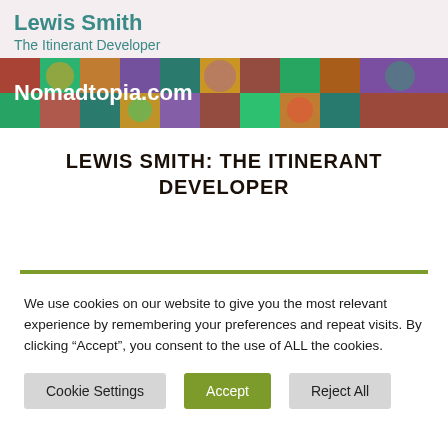[Figure (illustration): Website header banner for Lewis Smith: The Itinerant Developer / Nomadtopia.com. Top section has light pink background with teal text showing name and subtitle. Bottom section has colorful mandala/mosaic pattern with white text 'Nomadtopia.com'.]
LEWIS SMITH: THE ITINERANT DEVELOPER
We use cookies on our website to give you the most relevant experience by remembering your preferences and repeat visits. By clicking “Accept”, you consent to the use of ALL the cookies.
Cookie Settings | Accept | Reject All